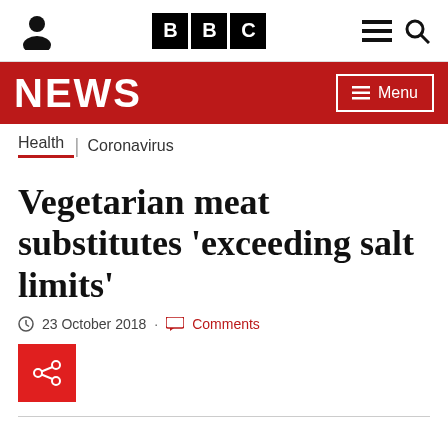BBC NEWS
Health | Coronavirus
Vegetarian meat substitutes 'exceeding salt limits'
23 October 2018 · Comments